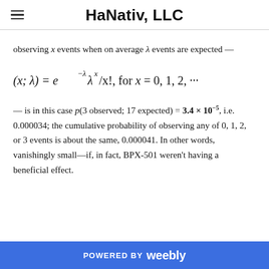HaNativ, LLC
observing x events when on average λ events are expected —
— is in this case p(3 observed; 17 expected) = 3.4 × 10⁻⁵, i.e. 0.000034; the cumulative probability of observing any of 0, 1, 2, or 3 events is about the same, 0.000041. In other words, vanishingly small—if, in fact, BPX-501 weren't having a beneficial effect.
POWERED BY weebly